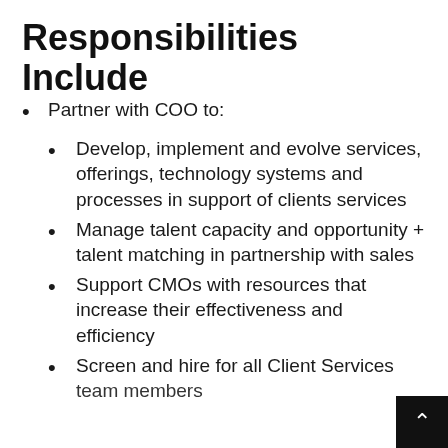Responsibilities Include
Partner with COO to:
Develop, implement and evolve services, offerings, technology systems and processes in support of clients services
Manage talent capacity and opportunity + talent matching in partnership with sales
Support CMOs with resources that increase their effectiveness and efficiency
Screen and hire for all Client Services team members